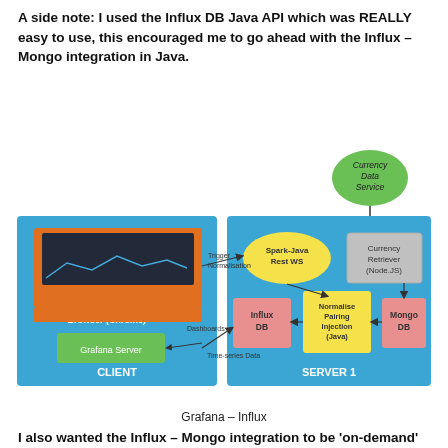A side note: I used the Influx DB Java API which was REALLY easy to use, this encouraged me to go ahead with the Influx – Mongo integration in Java.
[Figure (network-graph): Architecture diagram showing CLIENT and SERVER 1 zones connected. CLIENT zone contains Browser (Chrome) with a graph display and Grafana Server (green). SERVER 1 zone contains Spark-Java Rest WS (yellow ellipse), Influx DB (salmon box), Normalise Pairing Injection (Java) (yellow box), Mongo DB (salmon box), and Currency Retriever (Node.JS) (grey box). Currency Data Service (green circle) at top connects to Currency Retriever. Arrows show data flow between components.]
Grafana – Influx
I also wanted the Influx – Mongo integration to be 'on-demand' so that we can create different pairings against